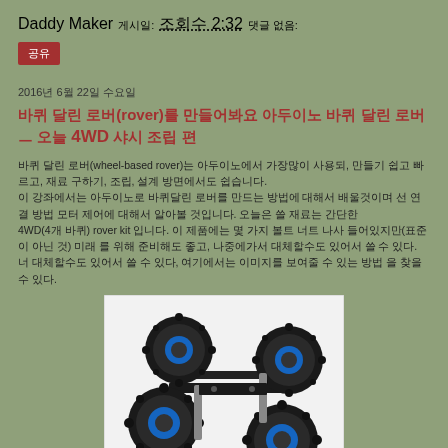Daddy Maker 게시일: 조회수 2:32 댓글 없음:
공유
2016년 6월 22일 수요일
바퀴 달린 로버(rover)를 만들어봐요 아두이노 바퀴 달린 로버 ㅡ 오늘 4WD 샤시 조립 편
바퀴 달린 로버(wheel-based rover)는 아두이노에서 가장많이 사용되, 만들기 쉽고 빠르고, 재료 구하기, 조립, 설계 방면에서도 쉽습니다. 이 강좌에서는 아두이노로 바퀴달린 로버를 만드는 방법에 대해서 배울것이며 선 연결 방법 모터 제어에 대해서 알아볼 것입니다. 오늘은 쓸 재료는 간단한 4WD(4개 바퀴) rover kit 입니다. 이 제품에는 몇 가지 볼트 너트 나사 들어있지만(표준이 아닌 것) 미래 를 위해 준비해도 좋고, 나중에가서 대체할수도 있어서 쓸 수 있다.
[Figure (photo): A 4WD rover chassis kit with four large black knobby tires with blue hubs, mounted on a black metal frame with axles.]